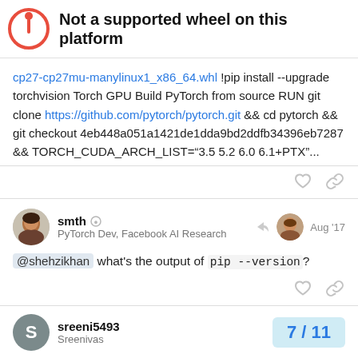Not a supported wheel on this platform
cp27-cp27mu-manylinux1_x86_64.whl !pip install --upgrade torchvision Torch GPU Build PyTorch from source RUN git clone https://github.com/pytorch/pytorch.git && cd pytorch && git checkout 4eb448a051a1421de1dda9bd2ddfb34396eb7287 && TORCH_CUDA_ARCH_LIST="3.5 5.2 6.0 6.1+PTX"...
smth — PyTorch Dev, Facebook AI Research — Aug '17
@shehzikhan what's the output of pip --version?
sreeni5493 Sreenivas 7/11